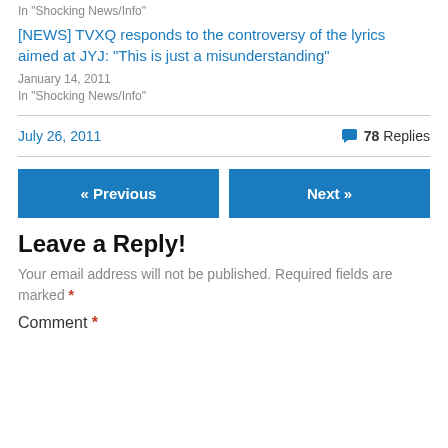In "Shocking News/Info"
[NEWS] TVXQ responds to the controversy of the lyrics aimed at JYJ: “This is just a misunderstanding”
January 14, 2011
In "Shocking News/Info"
July 26, 2011
78 Replies
« Previous
Next »
Leave a Reply!
Your email address will not be published. Required fields are marked *
Comment *